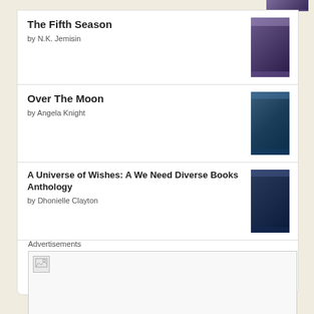[Figure (illustration): Partial book cover visible at top right, dark purple/indigo color]
The Fifth Season by N.K. Jemisin
Over The Moon by Angela Knight
A Universe of Wishes: A We Need Diverse Books Anthology by Dhonielle Clayton
[Figure (logo): goodreads logo in a rounded rectangle button]
Advertisements
[Figure (illustration): Advertisement placeholder box with broken image icon]